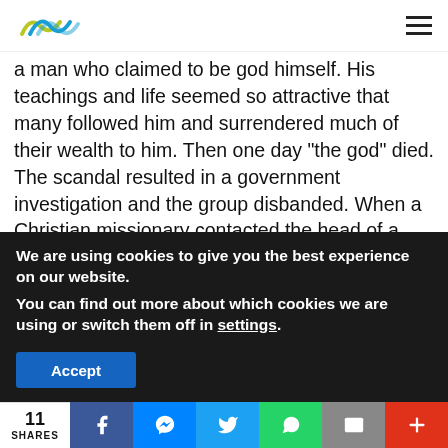[Logo] [Menu]
a man who claimed to be god himself. His teachings and life seemed so attractive that many followed him and surrendered much of their wealth to him. Then one day “the god” died. The scandal resulted in a government investigation and the group disbanded. When a Christian missionary contacted the head of a family, many months after this, he responded to the gospel, because he realised that the irrefutable teachings of “the god who had died,” who was the leader of the
We are using cookies to give you the best experience on our website.
You can find out more about which cookies we are using or switch them off in settings.
Accept
11 SHARES  [Facebook] [Messenger] [Twitter] [WhatsApp] [Email] [More]